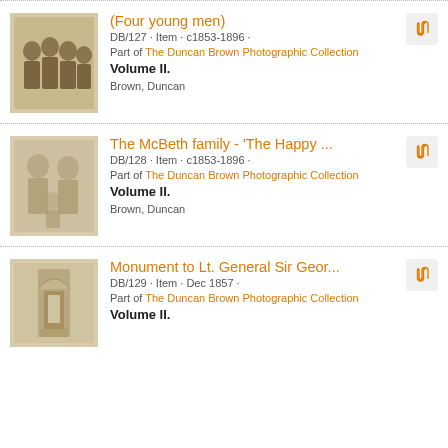[Figure (photo): Sepia photograph of four young men posed together]
(Four young men)
DB/127 · Item · c1853-1896 ·
Part of The Duncan Brown Photographic Collection
Volume II.
Brown, Duncan
[Figure (photo): Faded sepia photograph of the McBeth family]
The McBeth family - 'The Happy ...
DB/128 · Item · c1853-1896 ·
Part of The Duncan Brown Photographic Collection
Volume II.
Brown, Duncan
[Figure (photo): Photograph of a monument with gothic arch design]
Monument to Lt. General Sir Geor...
DB/129 · Item · Dec 1857 ·
Part of The Duncan Brown Photographic Collection
Volume II.